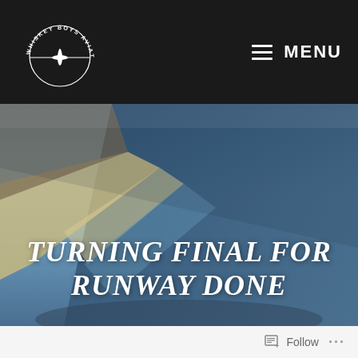[Figure (logo): Whiskey Boys Aviation circular logo with airplane silhouette and text arc]
MENU
[Figure (photo): Aerial view from aircraft cockpit showing coastline with beach, ocean, and sandy terrain from a high altitude banking turn]
TURNING FINAL FOR RUNWAY DONE
Follow ...